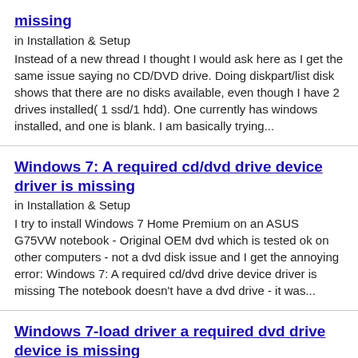missing
in Installation & Setup
Instead of a new thread I thought I would ask here as I get the same issue saying no CD/DVD drive. Doing diskpart/list disk shows that there are no disks available, even though I have 2 drives installed( 1 ssd/1 hdd). One currently has windows installed, and one is blank. I am basically trying...
Windows 7: A required cd/dvd drive device driver is missing
in Installation & Setup
I try to install Windows 7 Home Premium on an ASUS G75VW notebook - Original OEM dvd which is tested ok on other computers - not a dvd disk issue and I get the annoying error: Windows 7: A required cd/dvd drive device driver is missing The notebook doesn't have a dvd drive - it was...
Windows 7-load driver a required dvd drive device is missing